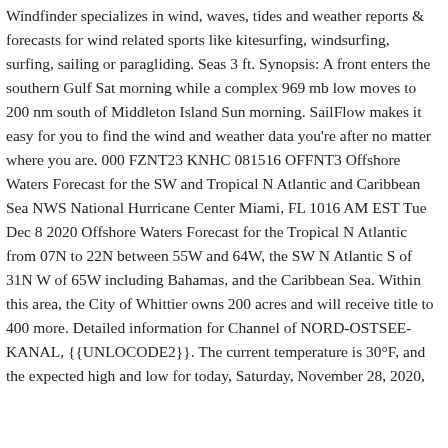Windfinder specializes in wind, waves, tides and weather reports & forecasts for wind related sports like kitesurfing, windsurfing, surfing, sailing or paragliding. Seas 3 ft. Synopsis: A front enters the southern Gulf Sat morning while a complex 969 mb low moves to 200 nm south of Middleton Island Sun morning. SailFlow makes it easy for you to find the wind and weather data you're after no matter where you are. 000 FZNT23 KNHC 081516 OFFNT3 Offshore Waters Forecast for the SW and Tropical N Atlantic and Caribbean Sea NWS National Hurricane Center Miami, FL 1016 AM EST Tue Dec 8 2020 Offshore Waters Forecast for the Tropical N Atlantic from 07N to 22N between 55W and 64W, the SW N Atlantic S of 31N W of 65W including Bahamas, and the Caribbean Sea. Within this area, the City of Whittier owns 200 acres and will receive title to 400 more. Detailed information for Channel of NORD-OSTSEE-KANAL, {{UNLOCODE2}}. The current temperature is 30°F, and the expected high and low for today, Saturday, November 28, 2020,